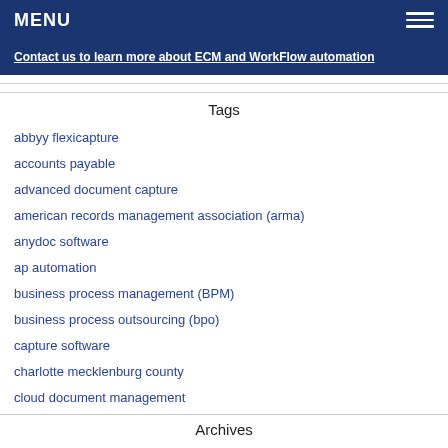MENU
Contact us to learn more about ECM and WorkFlow automation
Tags
abbyy flexicapture
accounts payable
advanced document capture
american records management association (arma)
anydoc software
ap automation
business process management (BPM)
business process outsourcing (bpo)
capture software
charlotte mecklenburg county
cloud document management
Archives